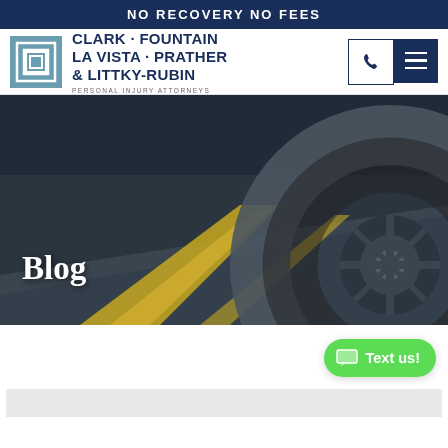NO RECOVERY NO FEES
[Figure (logo): Clark Fountain La Vista Prather & Littky-Rubin law firm logo with stylized square icon and firm name]
CLARK · FOUNTAIN LA VISTA · PRATHER & LITTKY-RUBIN
PERSONAL INJURY ATTORNEYS
[Figure (photo): Hero banner image showing a dark road with yellow lane markings and a close-up of a vehicle wheel on the right side, with 'Blog' label overlaid in white text]
Text us!